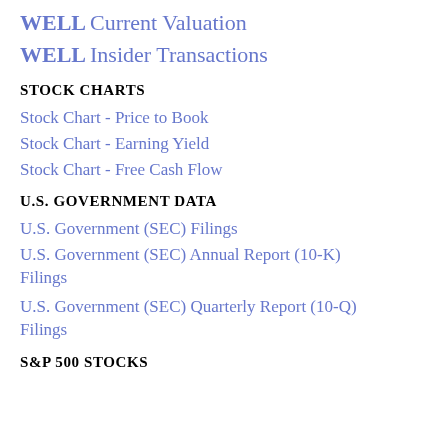WELL Current Valuation
WELL Insider Transactions
STOCK CHARTS
Stock Chart - Price to Book
Stock Chart - Earning Yield
Stock Chart - Free Cash Flow
U.S. GOVERNMENT DATA
U.S. Government (SEC) Filings
U.S. Government (SEC) Annual Report (10-K) Filings
U.S. Government (SEC) Quarterly Report (10-Q) Filings
S&P 500 STOCKS